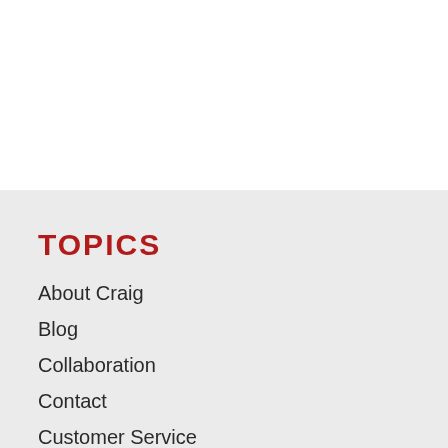TOPICS
About Craig
Blog
Collaboration
Contact
Customer Service
Home
Leadership